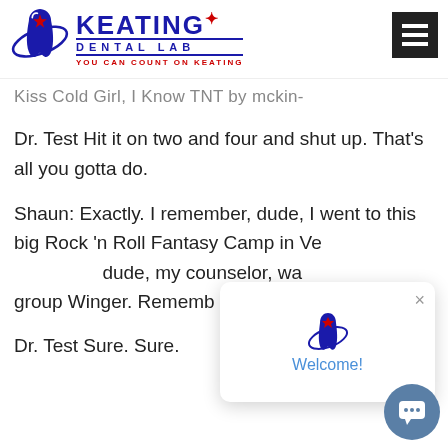[Figure (logo): Keating Dental Lab logo with blue tooth graphic, 'KEATING' text in blue, 'DENTAL LAB' subtitle, and red tagline 'YOU CAN COUNT ON KEATING'. Hamburger menu icon to the right.]
Kiss Cold Girl, I Know TNT by mckin-
Dr. Test Hit it on two and four and shut up. That's all you gotta do.
Shaun: Exactly. I remember, dude, I went to this big Rock 'n Roll Fantasy Camp in Vegas like 5... I went The dude, my counselor, wa... group Winger. Remember that Winger group?
[Figure (screenshot): Chat popup overlay showing Keating Dental Lab tooth logo and 'Welcome!' text in blue, with a close (×) button. A circular chat bubble button appears at bottom right.]
Dr. Test Sure. Sure.